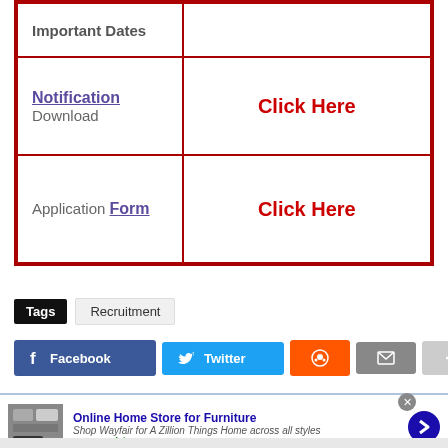| Important Dates |  |
| --- | --- |
| Important Dates |  |
| Notification
Download | Click Here |
| Application Form | Click Here |
Tags  Recruitment
[Figure (infographic): Social share buttons: Facebook, Twitter, Reddit, Mail, Plus]
[Figure (infographic): Advertisement banner: Online Home Store for Furniture - Wayfair]